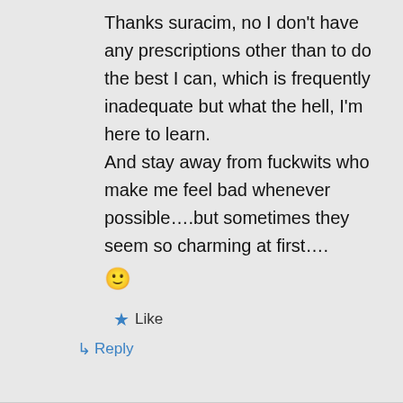Thanks suracim, no I don't have any prescriptions other than to do the best I can, which is frequently inadequate but what the hell, I'm here to learn. And stay away from fuckwits who make me feel bad whenever possible....but sometimes they seem so charming at first....
🙂
★ Like
↳ Reply